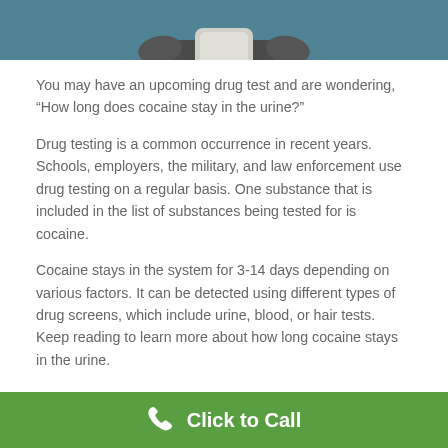[Figure (photo): Partial photo of a person sitting, cropped at the top of the page showing torso/arms area against a teal/blue background]
You may have an upcoming drug test and are wondering, “How long does cocaine stay in the urine?”
Drug testing is a common occurrence in recent years. Schools, employers, the military, and law enforcement use drug testing on a regular basis. One substance that is included in the list of substances being tested for is cocaine.
Cocaine stays in the system for 3-14 days depending on various factors. It can be detected using different types of drug screens, which include urine, blood, or hair tests. Keep reading to learn more about how long cocaine stays in the urine.
Click to Call